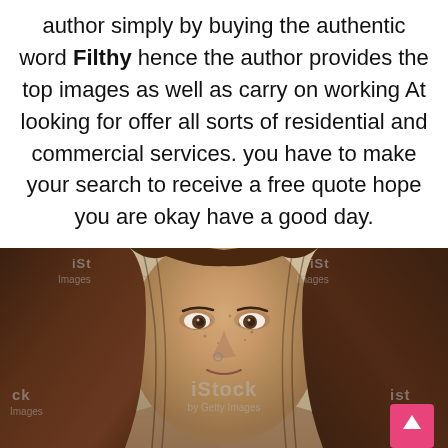author simply by buying the authentic word Filthy hence the author provides the top images as well as carry on working At looking for offer all sorts of residential and commercial services. you have to make your search to receive a free quote hope you are okay have a good day.
[Figure (photo): Stock photo of a young woman with freckles, long reddish-brown hair, a nose ring, looking at the camera with a serious expression. iStock by Getty Images watermark visible.]